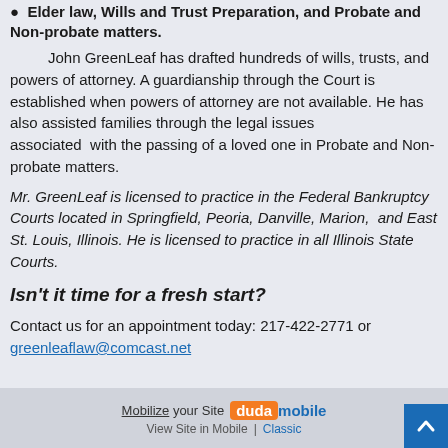Elder law, Wills and Trust Preparation, and Probate and Non-probate matters.
John GreenLeaf has drafted hundreds of wills, trusts, and powers of attorney. A guardianship through the Court is established when powers of attorney are not available. He has also assisted families through the legal issues associated with the passing of a loved one in Probate and Non-probate matters.
Mr. GreenLeaf is licensed to practice in the Federal Bankruptcy Courts located in Springfield, Peoria, Danville, Marion, and East St. Louis, Illinois. He is licensed to practice in all Illinois State Courts.
Isn't it time for a fresh start?
Contact us for an appointment today: 217-422-2771 or greenleaflaw@comcast.net
Mobilize your Site | duda mobile | View Site in Mobile | Classic